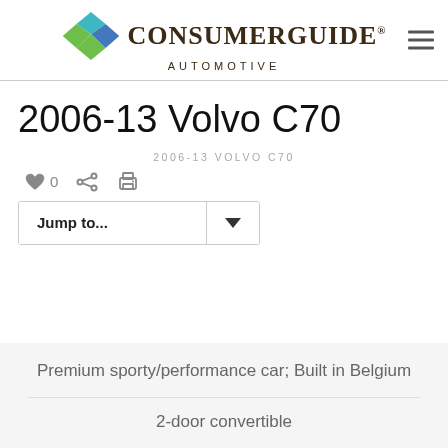[Figure (logo): Consumer Guide Automotive logo with colored diamond/leaf shapes and serif brand name]
2006-13 Volvo C70
2006-13 VOLVO C70
0  (heart icon) (share icon) (print icon)
Jump to...
Premium sporty/performance car; Built in Belgium
2-door convertible